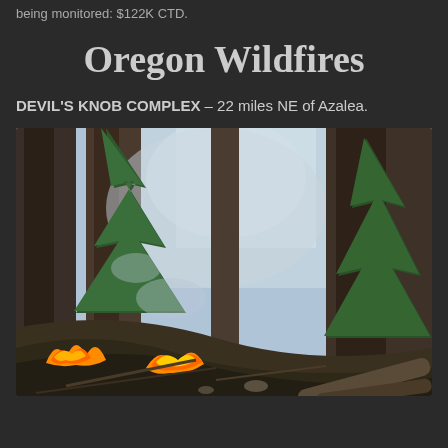being monitored: $122K CTD.
Oregon Wildfires
DEVIL'S KNOB COMPLEX – 22 miles NE of Azalea.
[Figure (photo): Forest wildfire photo showing tall conifer trees with flames and smoke visible at ground level along a hillside slope]